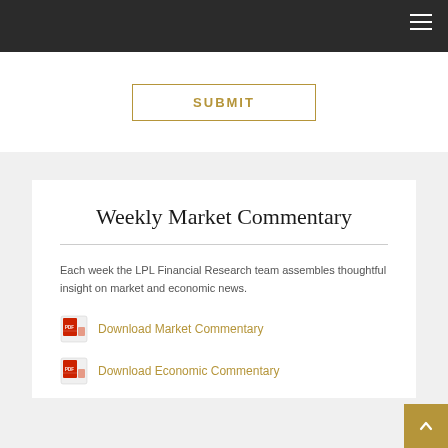SUBMIT
Weekly Market Commentary
Each week the LPL Financial Research team assembles thoughtful insight on market and economic news.
Download Market Commentary
Download Economic Commentary